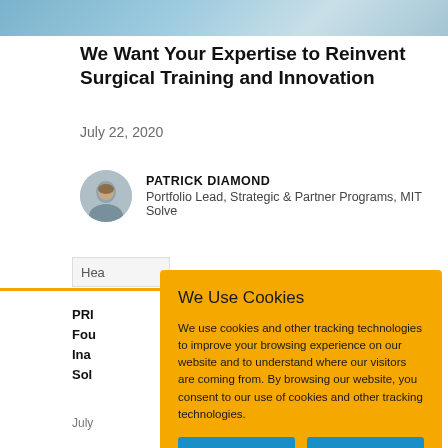[Figure (photo): Medical/surgical photo strip at the top of the page, showing blurred blue-toned surgical scene]
We Want Your Expertise to Reinvent Surgical Training and Innovation
July 22, 2020
PATRICK DIAMOND
Portfolio Lead, Strategic & Partner Programs, MIT Solve
Hea
PRI
Fou
Ina
Sol
July
We Use Cookies

We use cookies and other tracking technologies to improve your browsing experience on our website and to understand where our visitors are coming from. By browsing our website, you consent to our use of cookies and other tracking technologies.
ACCEPT
REJECT